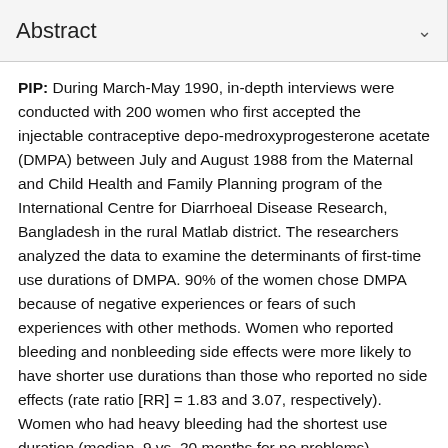Abstract
PIP: During March-May 1990, in-depth interviews were conducted with 200 women who first accepted the injectable contraceptive depo-medroxyprogesterone acetate (DMPA) between July and August 1988 from the Maternal and Child Health and Family Planning program of the International Centre for Diarrhoeal Disease Research, Bangladesh in the rural Matlab district. The researchers analyzed the data to examine the determinants of first-time use durations of DMPA. 90% of the women chose DMPA because of negative experiences or fears of such experiences with other methods. Women who reported bleeding and nonbleeding side effects were more likely to have shorter use durations than those who reported no side effects (rate ratio [RR] = 1.83 and 3.07, respectively). Women who had heavy bleeding had the shortest use duration (median, 9 vs. 20 months for no problems). Amenorrhea